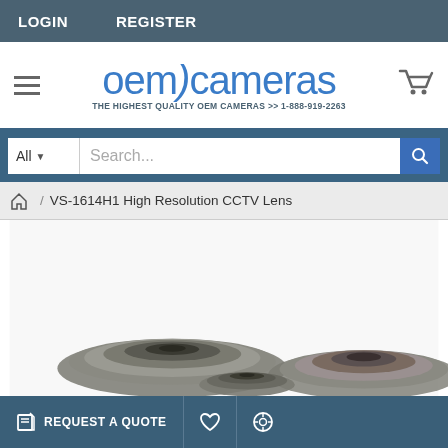LOGIN   REGISTER
[Figure (logo): OEM Cameras logo with tagline: THE HIGHEST QUALITY OEM CAMERAS >> 1-888-919-2263]
Search...
VS-1614H1 High Resolution CCTV Lens
[Figure (photo): Product photo of VS-1614H1 High Resolution CCTV Lens - camera lenses shown from above]
This website uses cookies to improve user experience and site performance, offer advertising tailored to your interests and enable social media sharing. By clicking "Accept", you agree to our use of
REQUEST A QUOTE